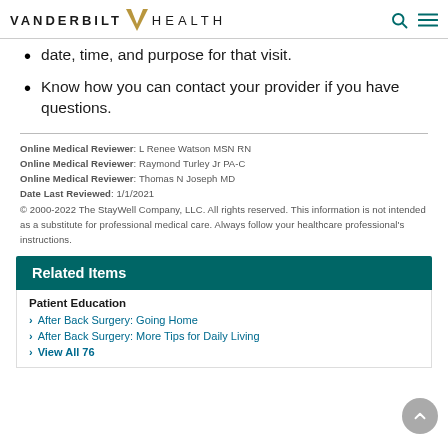VANDERBILT HEALTH
date, time, and purpose for that visit.
Know how you can contact your provider if you have questions.
Online Medical Reviewer: L Renee Watson MSN RN
Online Medical Reviewer: Raymond Turley Jr PA-C
Online Medical Reviewer: Thomas N Joseph MD
Date Last Reviewed: 1/1/2021
© 2000-2022 The StayWell Company, LLC. All rights reserved. This information is not intended as a substitute for professional medical care. Always follow your healthcare professional's instructions.
Related Items
Patient Education
After Back Surgery: Going Home
After Back Surgery: More Tips for Daily Living
View All 76